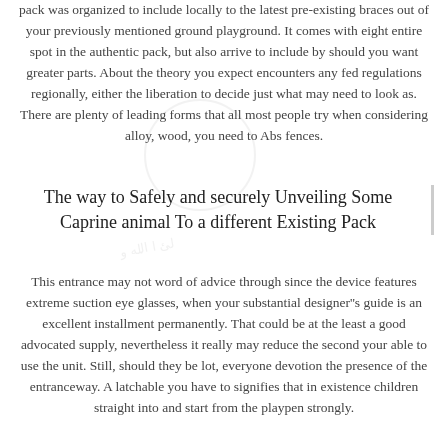pack was organized to include locally to the latest pre-existing braces out of your previously mentioned ground playground. It comes with eight entire spot in the authentic pack, but also arrive to include by should you want greater parts. About the theory you expect encounters any fed regulations regionally, either the liberation to decide just what may need to look as. There are plenty of leading forms that all most people try when considering alloy, wood, you need to Abs fences.
The way to Safely and securely Unveiling Some Caprine animal To a different Existing Pack
This entrance may not word of advice through since the device features extreme suction eye glasses, when your substantial designer''s guide is an excellent installment permanently. That could be at the least a good advocated supply, nevertheless it really may reduce the second your able to use the unit. Still, should they be lot, everyone devotion the presence of the entranceway. A latchable you have to signifies that in existence children straight into and start from the playpen strongly.